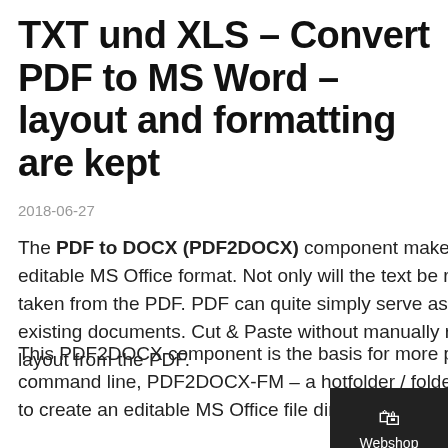TXT und XLS – Convert PDF to MS Word – layout and formatting are kept
2018-06-27
The PDF to DOCX (PDF2DOCX) component makes it possible to convert existing PDFs back into an editable MS Office format. Not only will the text be read out, but also the layout and formatting will be taken from the PDF. PDF can quite simply serve as a basis for new documents or for changes to existing documents. Cut & Paste without manually removing and redesigning the text, images and layout from the PDF.
This PDF2DOCX component is the basis for more products coming out shortly. PDF2DOCX-CL – a command line, PDF2DOCX-FM – a hotfolder / folder monitoring application and an eDocPrintPro plugin to create an editable MS Office file directly from the printing of a